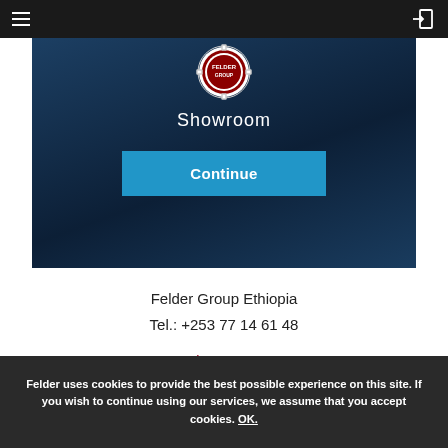Felder Group – navigation bar with hamburger menu and login icon
[Figure (logo): Felder Group circular gear logo with red and white branding]
Showroom
Continue
Felder Group Ethiopia
Tel.: +253 77 14 61 48
Showrooms
Contact
Felder uses cookies to provide the best possible experience on this site. If you wish to continue using our services, we assume that you accept cookies. OK.